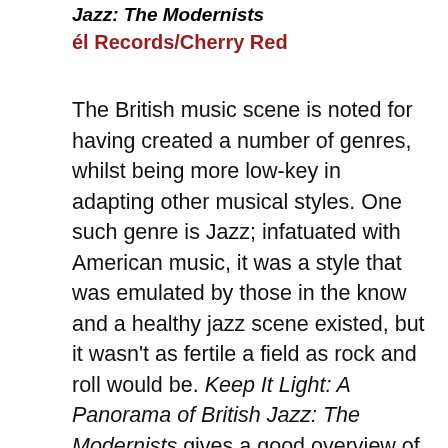Jazz: The Modernists
él Records/Cherry Red
The British music scene is noted for having created a number of genres, whilst being more low-key in adapting other musical styles. One such genre is Jazz; infatuated with American music, it was a style that was emulated by those in the know and a healthy jazz scene existed, but it wasn't as fertile a field as rock and roll would be. Keep It Light: A Panorama of British Jazz: The Modernists gives a good overview of those jazz artists who did make themselves known to the music scene.